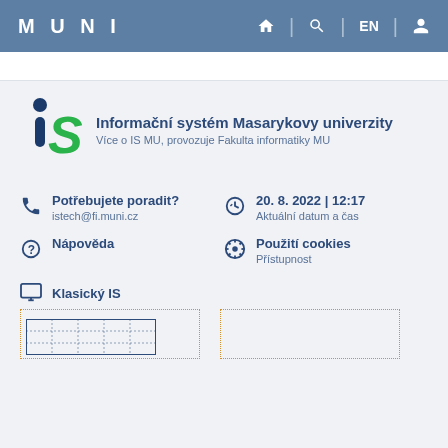MUNI | EN
[Figure (logo): IS MU logo — stylized 'iS' with blue lowercase i and green S]
Informační systém Masarykovy univerzity
Více o IS MU, provozuje Fakulta informatiky MU
Potřebujete poradit?
istech@fi.muni.cz
20. 8. 2022 | 12:17
Aktuální datum a čas
Nápověda
Použití cookies
Přístupnost
Klasický IS